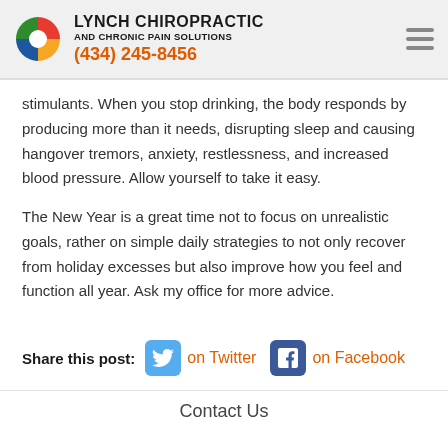LYNCH CHIROPRACTIC AND CHRONIC PAIN SOLUTIONS (434) 245-8456
stimulants. When you stop drinking, the body responds by producing more than it needs, disrupting sleep and causing hangover tremors, anxiety, restlessness, and increased blood pressure. Allow yourself to take it easy.
The New Year is a great time not to focus on unrealistic goals, rather on simple daily strategies to not only recover from holiday excesses but also improve how you feel and function all year. Ask my office for more advice.
Share this post:   on Twitter   on Facebook
Contact Us